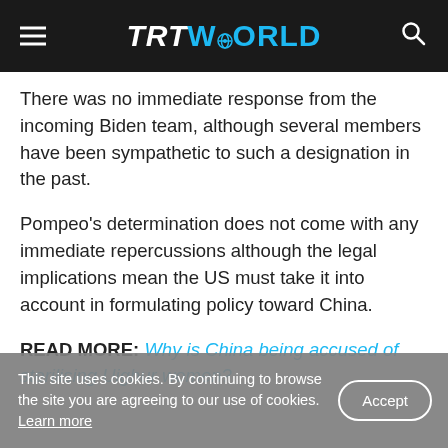TRT WORLD
There was no immediate response from the incoming Biden team, although several members have been sympathetic to such a designation in the past.
Pompeo's determination does not come with any immediate repercussions although the legal implications mean the US must take it into account in formulating policy toward China.
READ MORE: Why is China being accused of sterilising Uighur women?
This site uses cookies. By continuing to browse the site you are agreeing to our use of cookies. Learn more